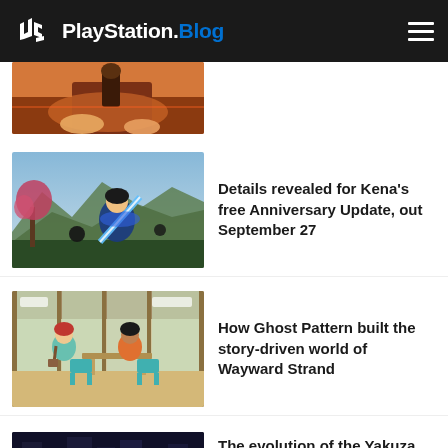PlayStation.Blog
[Figure (screenshot): Partial view of a game screenshot at top of page, cropped]
Details revealed for Kena's free Anniversary Update, out September 27
[Figure (screenshot): Screenshot from Kena: Bridge of Spirits game showing character with blue energy sword]
How Ghost Pattern built the story-driven world of Wayward Strand
[Figure (screenshot): Screenshot from Wayward Strand showing animated characters in an indoor scene]
The evolution of the Yakuza